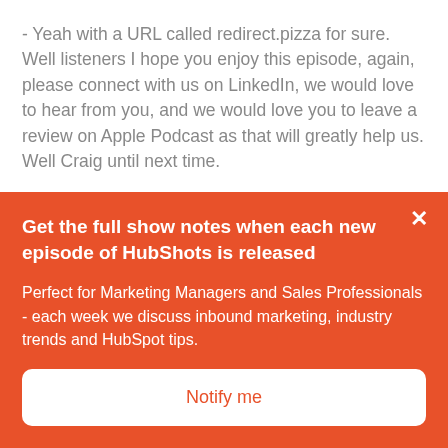- Yeah with a URL called redirect.pizza for sure. Well listeners I hope you enjoy this episode, again, please connect with us on LinkedIn, we would love to hear from you, and we would love you to leave a review on Apple Podcast as that will greatly help us. Well Craig until next time.
- Catch you later Ian.
- Thank you for listening to this episode of HubShots. For show notes, resources, HubSpot news including practical
Get the full show notes when each new episode of HubShots is released
Perfect for Marketing Managers and Sales Professionals - each week we discuss inbound marketing, industry trends and HubSpot tips.
Notify me